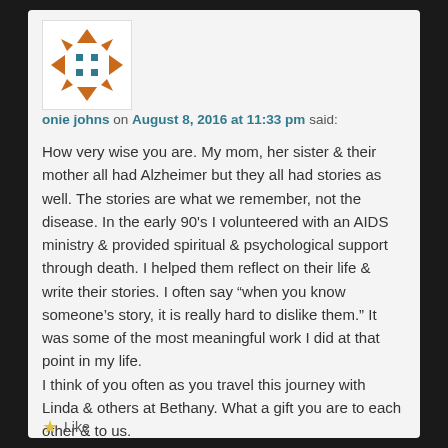[Figure (logo): Orange and teal geometric compass/diamond logo icon on white square background]
onie johns on August 8, 2016 at 11:33 pm said:
How very wise you are. My mom, her sister & their mother all had Alzheimer but they all had stories as well. The stories are what we remember, not the disease. In the early 90's I volunteered with an AIDS ministry & provided spiritual & psychological support through death. I helped them reflect on their life & write their stories. I often say “when you know someone’s story, it is really hard to dislike them.” It was some of the most meaningful work I did at that point in my life.
I think of you often as you travel this journey with Linda & others at Bethany. What a gift you are to each other & to us.
onie johns
Like